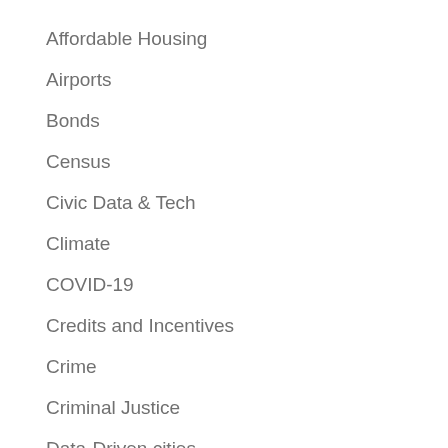Affordable Housing
Airports
Bonds
Census
Civic Data & Tech
Climate
COVID-19
Credits and Incentives
Crime
Criminal Justice
Data-Driven cities
Demographics
Economic Development
Economic Forecasts
Economics